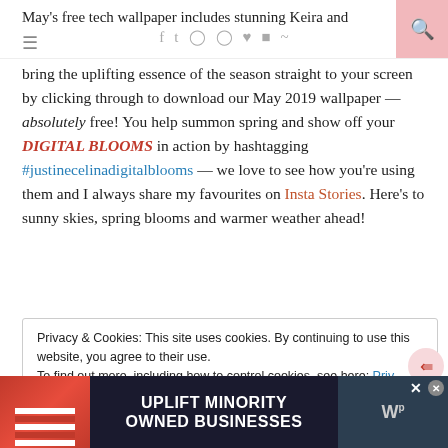May's free tech wallpaper includes stunning Keira and
bring the uplifting essence of the season straight to your screen by clicking through to download our May 2019 wallpaper — absolutely free! You help summon spring and show off your DIGITAL BLOOMS in action by hashtagging #justinecelinadigitalblooms — we love to see how you're using them and I always share my favourites on Insta Stories. Here's to sunny skies, spring blooms and warmer weather ahead!
Privacy & Cookies: This site uses cookies. By continuing to use this website, you agree to their use. To find out more, including how to control cookies, see here: Privacy Policy
[Figure (photo): Advertisement banner: 'UPLIFT MINORITY OWNED BUSINESSES' on dark background with storefront imagery on the left and right sides, and a close button.]